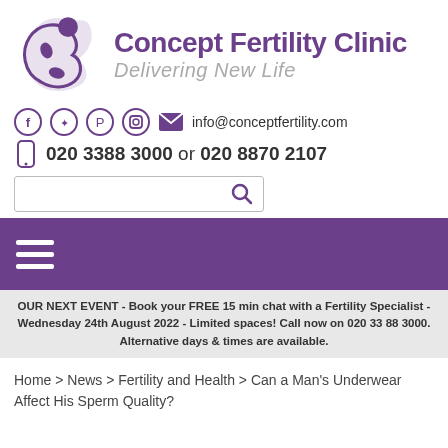[Figure (logo): Concept Fertility Clinic logo with purple abstract figure and text 'Concept Fertility Clinic / Delivering New Life']
info@conceptfertility.com
020 3388 3000 or 020 8870 2107
[Figure (other): Search box with magnifying glass icon]
[Figure (other): Purple navigation bar with hamburger menu icon]
OUR NEXT EVENT - Book your FREE 15 min chat with a Fertility Specialist - Wednesday 24th August 2022 - Limited spaces! Call now on 020 33 88 3000. Alternative days & times are available.
Home > News > Fertility and Health > Can a Man's Underwear Affect His Sperm Quality?